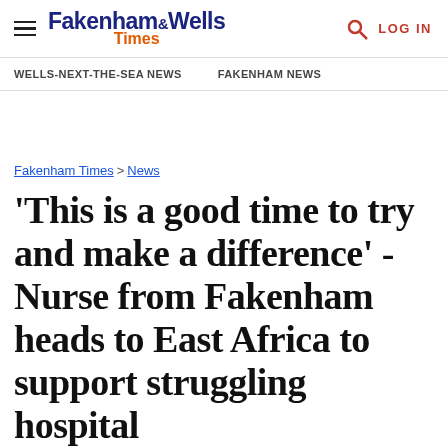Fakenham & Wells Times | LOG IN
WELLS-NEXT-THE-SEA NEWS   FAKENHAM NEWS
Fakenham Times > News
'This is a good time to try and make a difference' - Nurse from Fakenham heads to East Africa to support struggling hospital